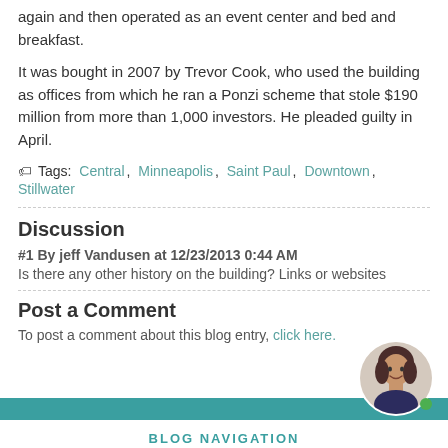again and then operated as an event center and bed and breakfast.
It was bought in 2007 by Trevor Cook, who used the building as offices from which he ran a Ponzi scheme that stole $190 million from more than 1,000 investors. He pleaded guilty in April.
Tags: Central, Minneapolis, Saint Paul, Downtown, Stillwater
Discussion
#1 By jeff Vandusen at 12/23/2013 0:44 AM
Is there any other history on the building? Links or websites
Post a Comment
To post a comment about this blog entry, click here.